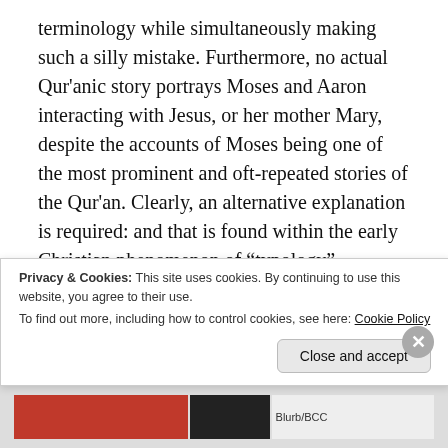terminology while simultaneously making such a silly mistake. Furthermore, no actual Qur'anic story portrays Moses and Aaron interacting with Jesus, or her mother Mary, despite the accounts of Moses being one of the most prominent and oft-repeated stories of the Qur'an. Clearly, an alternative explanation is required: and that is found within the early Christian phenomenon of “typology”.
A ‘typology’ in the Christian sense refers to a theory where earlier figures – typically Old
Privacy & Cookies: This site uses cookies. By continuing to use this website, you agree to their use.
To find out more, including how to control cookies, see here: Cookie Policy
Close and accept